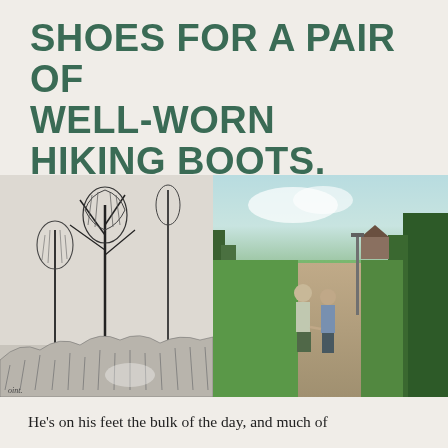SHOES FOR A PAIR OF WELL-WORN HIKING BOOTS.
[Figure (illustration): A composite image: left half is a black-and-white pen sketch of trees and foliage; right half is a photograph of two people walking away on a gravel path through green parkland, holding hands, with trees and a building visible in the background under a light sky.]
He's on his feet the bulk of the day, and much of